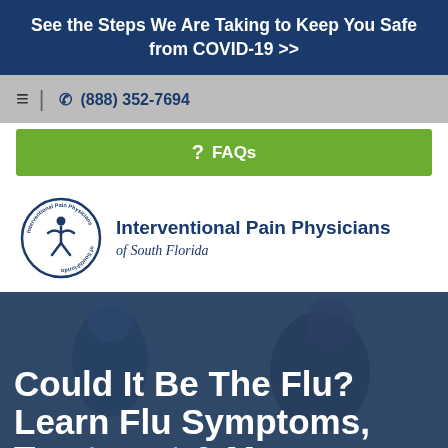See the Steps We Are Taking to Keep You Safe from COVID-19 >>
☰ | ✆ (888) 352-7694
? FAQs
[Figure (logo): Interventional Pain Physicians of South Florida circular logo with figure and text]
Interventional Pain Physicians of South Florida
[Figure (photo): Two people in blue scrubs, hero section background image]
Could It Be The Flu? Learn Flu Symptoms, Treatment & M...